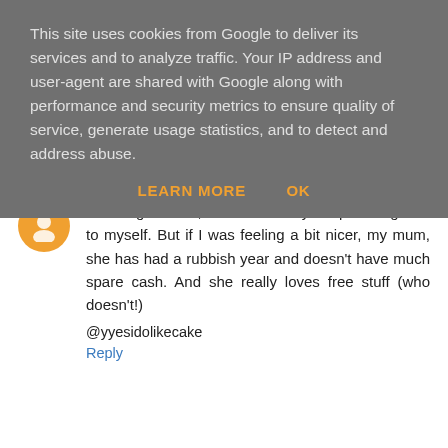This site uses cookies from Google to deliver its services and to analyze traffic. Your IP address and user-agent are shared with Google along with performance and security metrics to ensure quality of service, generate usage statistics, and to detect and address abuse.
LEARN MORE    OK
I'm not gonna lie, I would be very tempted to give it to myself. But if I was feeling a bit nicer, my mum, she has had a rubbish year and doesn't have much spare cash. And she really loves free stuff (who doesn't!)
@yyesidolikecake
Reply
Angie McDonald 18 December 2012 at 23:38
I'd give it to my daughter as she's always there for me and she deserves some pampering!
Reply